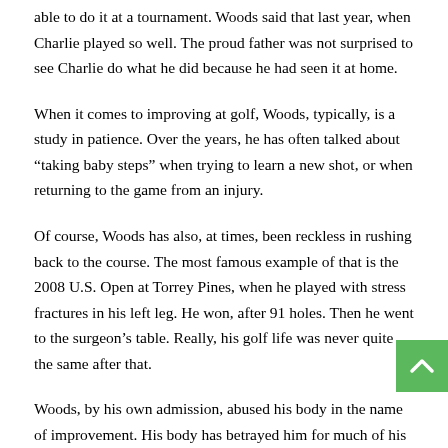able to do it at a tournament. Woods said that last year, when Charlie played so well. The proud father was not surprised to see Charlie do what he did because he had seen it at home.
When it comes to improving at golf, Woods, typically, is a study in patience. Over the years, he has often talked about “taking baby steps” when trying to learn a new shot, or when returning to the game from an injury.
Of course, Woods has also, at times, been reckless in rushing back to the course. The most famous example of that is the 2008 U.S. Open at Torrey Pines, when he played with stress fractures in his left leg. He won, after 91 holes. Then he went to the surgeon’s table. Really, his golf life was never quite the same after that.
Woods, by his own admission, abused his body in the name of improvement. His body has betrayed him for much of his